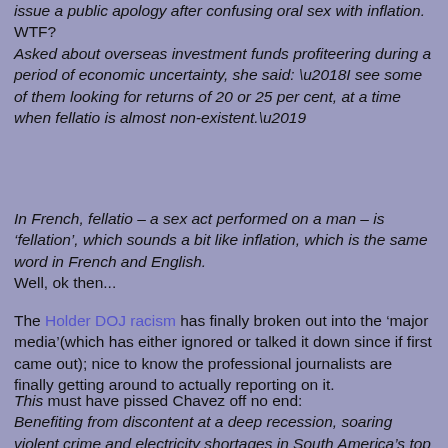issue a public apology after confusing oral sex with inflation. WTF?
Asked about overseas investment funds profiteering during a period of economic uncertainty, she said: ‘I see some of them looking for returns of 20 or 25 per cent, at a time when fellatio is almost non-existent.’
In French, fellatio – a sex act performed on a man – is ‘fellation’, which sounds a bit like inflation, which is the same word in French and English.
Well, ok then...
The Holder DOJ racism has finally broken out into the ‘major media’(which has either ignored or talked it down since if first came out); nice to know the professional journalists are finally getting around to actually reporting on it.
This must have pissed Chavez off no end:
Benefiting from discontent at a deep recession, soaring violent crime and electricity shortages in South America’s top